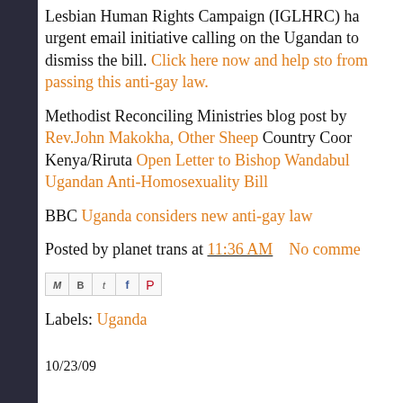Lesbian Human Rights Campaign (IGLHRC) ha urgent email initiative calling on the Ugandan to dismiss the bill. Click here now and help sto from passing this anti-gay law.
Methodist Reconciling Ministries blog post by Rev.John Makokha, Other Sheep Country Coor Kenya/Riruta Open Letter to Bishop Wandabul Ugandan Anti-Homosexuality Bill
BBC Uganda considers new anti-gay law
Posted by planet trans at 11:36 AM    No comme
[Figure (other): Social media share buttons: email (M), Blogger (B), Twitter (t), Facebook (f), Pinterest (P)]
Labels: Uganda
10/23/09